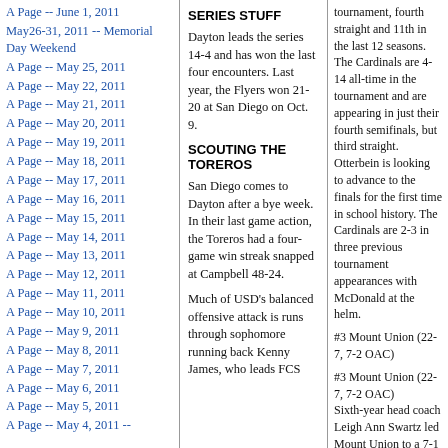A Page -- June 1, 2011
May26-31, 2011 -- Memorial Day Weekend
A Page -- May 25, 2011
A Page -- May 22, 2011
A Page -- May 21, 2011
A Page -- May 20, 2011
A Page -- May 19, 2011
A Page -- May 18, 2011
A Page -- May 17, 2011
A Page -- May 16, 2011
A Page -- May 15, 2011
A Page -- May 14, 2011
A Page -- May 13, 2011
A Page -- May 12, 2011
A Page -- May 11, 2011
A Page -- May 10, 2011
A Page -- May 9, 2011
A Page -- May 8, 2011
A Page -- May 7, 2011
A Page -- May 6, 2011
A Page -- May 5, 2011
A Page -- May 4, 2011 --
SERIES STUFF
Dayton leads the series 14-4 and has won the last four encounters.  Last year, the Flyers won 21-20 at San Diego on Oct. 9.
SCOUTING THE TOREROS
San Diego comes to Dayton after a bye week.  In their last game action, the Toreros had a four-game win streak snapped at Campbell 48-24.
Much of USD's balanced offensive attack is runs through sophomore running back Kenny James, who leads FCS
tournament, fourth straight and 11th in the last 12 seasons.  The Cardinals are 4-14 all-time in the tournament and are appearing in just their fourth semifinals, but third straight.  Otterbein is looking to advance to the finals for the first time in school history.  The Cardinals are 2-3 in three previous tournament appearances with McDonald at the helm.
#3 Mount Union (22-7, 7-2 OAC)
#3 Mount Union (22-7, 7-2 OAC)
Sixth-year head coach Leigh Ann Swartz led Mount Union to a 7-1 start before guiding the Purple